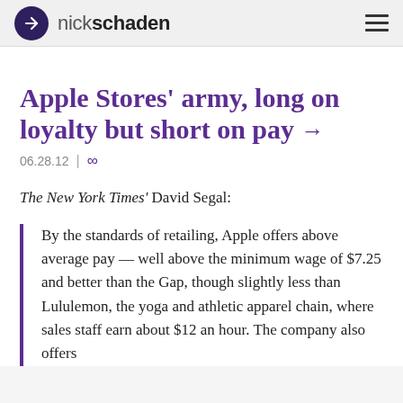nickschaden
Apple Stores' army, long on loyalty but short on pay →
06.28.12 | ∞
The New York Times' David Segal:
By the standards of retailing, Apple offers above average pay — well above the minimum wage of $7.25 and better than the Gap, though slightly less than Lululemon, the yoga and athletic apparel chain, where sales staff earn about $12 an hour. The company also offers